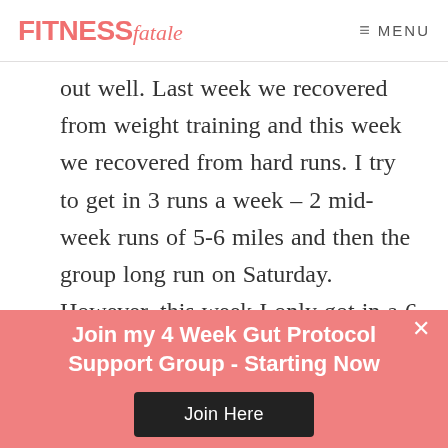FITNESS fatale   MENU
out well. Last week we recovered from weight training and this week we recovered from hard runs. I try to get in 3 runs a week – 2 mid-week runs of 5-6 miles and then the group long run on Saturday. However, this week I only got in a 6
Join my 4 Week Gut Protocol Support Group - Starting Now
Join Here